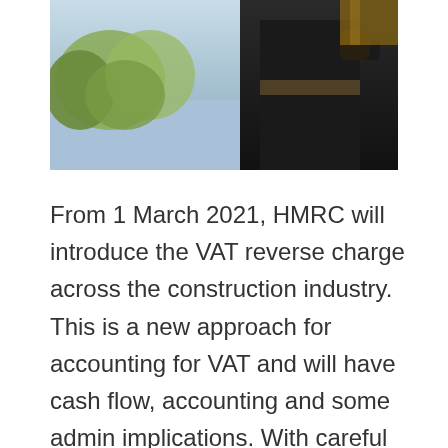[Figure (photo): Photograph of a construction worker in dark clothing working outdoors, with trees and sky visible in the background]
From 1 March 2021, HMRC will introduce the VAT reverse charge across the construction industry. This is a new approach for accounting for VAT and will have cash flow, accounting and some admin implications. With careful planning though you can reduce any impact. What is it all about? Here are 10 things you need to know about the VAT reverse charge for the construction